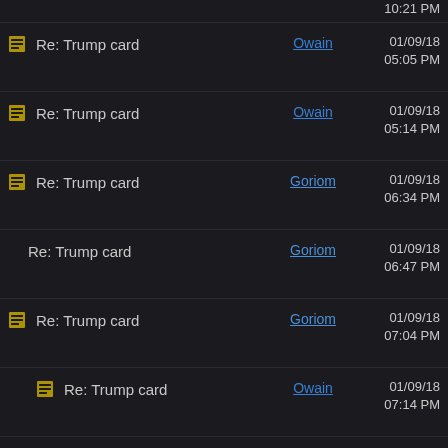Re: Trump card | Owain | 01/09/18 10:21 PM
Re: Trump card | Owain | 01/09/18 05:05 PM
Re: Trump card | Owain | 01/09/18 05:14 PM
Re: Trump card | Goriom | 01/09/18 06:34 PM
Re: Trump card | Goriom | 01/09/18 06:47 PM
Re: Trump card | Goriom | 01/09/18 07:04 PM
Re: Trump card | Owain | 01/09/18 07:14 PM
Re: Trump card | Goriom | 01/09/18 07:09 PM
Re: Trump card | Owain | 01/09/18